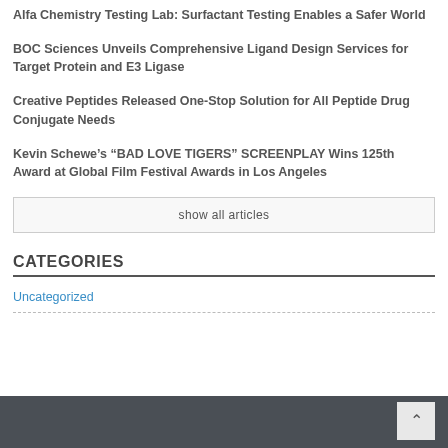Alfa Chemistry Testing Lab: Surfactant Testing Enables a Safer World
BOC Sciences Unveils Comprehensive Ligand Design Services for Target Protein and E3 Ligase
Creative Peptides Released One-Stop Solution for All Peptide Drug Conjugate Needs
Kevin Schewe’s “BAD LOVE TIGERS” SCREENPLAY Wins 125th Award at Global Film Festival Awards in Los Angeles
show all articles
CATEGORIES
Uncategorized